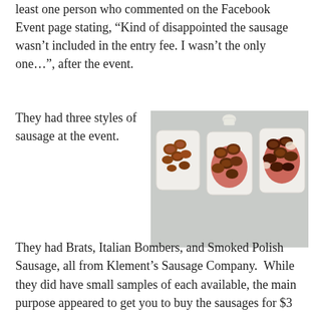least one person who commented on the Facebook Event page stating, “Kind of disappointed the sausage wasn’t included in the entry fee. I wasn’t the only one…”, after the event.
They had three styles of sausage at the event.
[Figure (photo): Three white trays each containing sliced sausage pieces. The left tray has plain sausage slices, the middle tray has sausage in tomato sauce, and the right tray also has sausage in sauce. A small white cup is visible at the top center.]
They had Brats, Italian Bombers, and Smoked Polish Sausage, all from Klement’s Sausage Company.  While they did have small samples of each available, the main purpose appeared to get you to buy the sausages for $3 each.